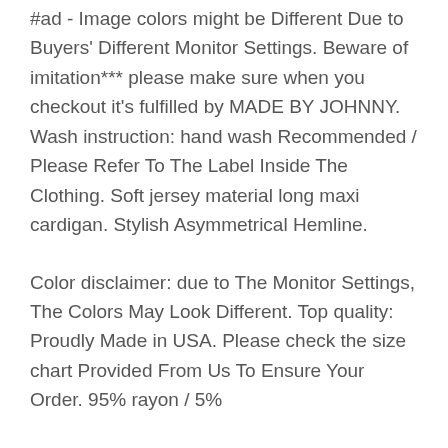#ad - Image colors might be Different Due to Buyers' Different Monitor Settings. Beware of imitation*** please make sure when you checkout it's fulfilled by MADE BY JOHNNY. Wash instruction: hand wash Recommended / Please Refer To The Label Inside The Clothing. Soft jersey material long maxi cardigan. Stylish Asymmetrical Hemline.
Color disclaimer: due to The Monitor Settings, The Colors May Look Different. Top quality: Proudly Made in USA. Please check the size chart Provided From Us To Ensure Your Order. 95% rayon / 5%